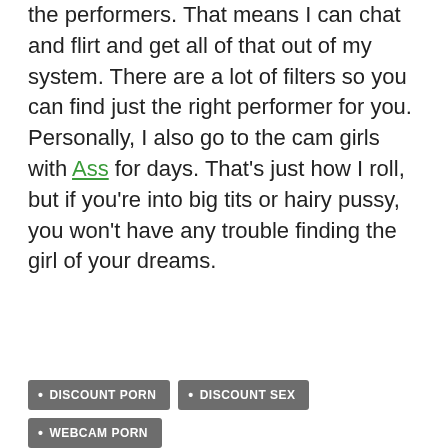the performers. That means I can chat and flirt and get all of that out of my system. There are a lot of filters so you can find just the right performer for you. Personally, I also go to the cam girls with Ass for days. That's just how I roll, but if you're into big tits or hairy pussy, you won't have any trouble finding the girl of your dreams.
DISCOUNT PORN
DISCOUNT SEX
WEBCAM PORN
WEBCAM SEX
WEBCAMS
FAT BOTTOMED GIRLS STILL ROCK MY WORLD